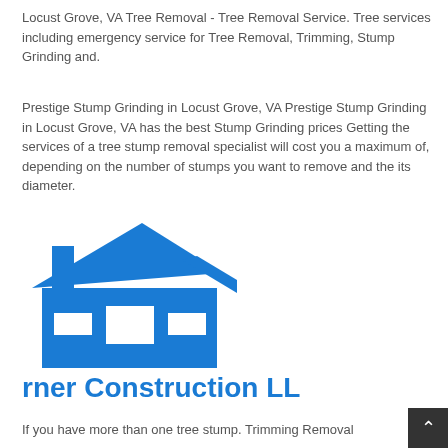Locust Grove, VA Tree Removal - Tree Removal Service. Tree services including emergency service for Tree Removal, Trimming, Stump Grinding and.
Prestige Stump Grinding in Locust Grove, VA Prestige Stump Grinding in Locust Grove, VA has the best Stump Grinding prices Getting the services of a tree stump removal specialist will cost you a maximum of, depending on the number of stumps you want to remove and the its diameter.
[Figure (logo): Blue house/construction logo icon with roof and garage shapes]
rner Construction LL
If you have more than one tree stump. Trimming Removal